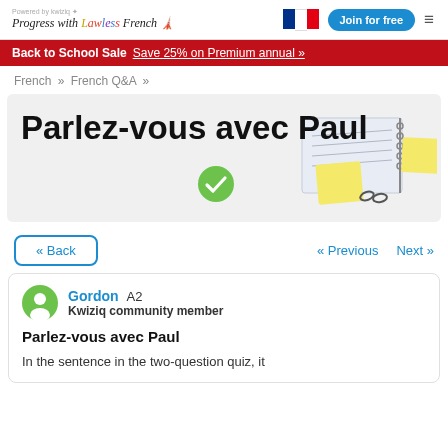Progress with Lawless French — Join for free
Back to School Sale  Save 25% on Premium annual »
French » French Q&A »
Parlez-vous avec Paul
« Back    « Previous    Next »
Gordon  A2
Kwiziq community member
Parlez-vous avec Paul
In the sentence in the two-question quiz, it